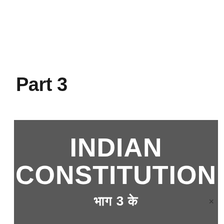Part 3
[Figure (illustration): Dark grey banner image with white bold text reading 'INDIAN CONSTITUTION' and Hindi/Devanagari text below partially visible reading 'भाग 3 के']
×